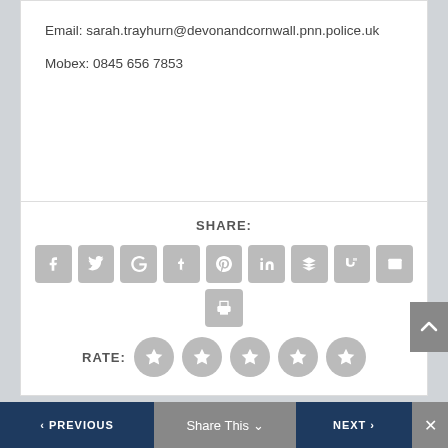Email: sarah.trayhurn@devonandcornwall.pnn.police.uk
Mobex: 0845 656 7853
[Figure (infographic): Social share buttons: Facebook, Twitter, Google+, Tumblr, Pinterest, LinkedIn, Buffer, StumbleUpon, Email, Print]
SHARE:
RATE:
< PREVIOUS   Share This ∨   NEXT > ✕